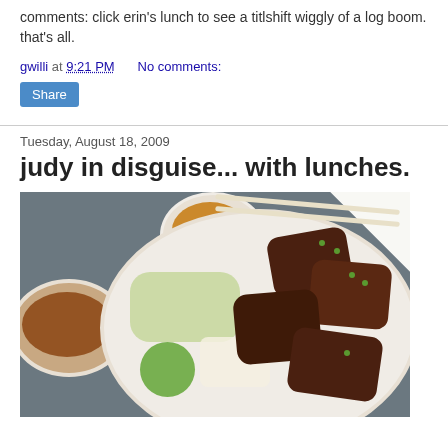comments: click erin's lunch to see a titlshift wiggly of a log boom. that's all.
gwilli at 9:21 PM   No comments:
Share
Tuesday, August 18, 2009
judy in disguise... with lunches.
[Figure (photo): Photo of a Vietnamese-style lunch plate with grilled meats, chopsticks, a bowl of soup on the left, a small dipping sauce bowl at top, cucumber slices, green vegetables, and rice on a plate with a dark background.]